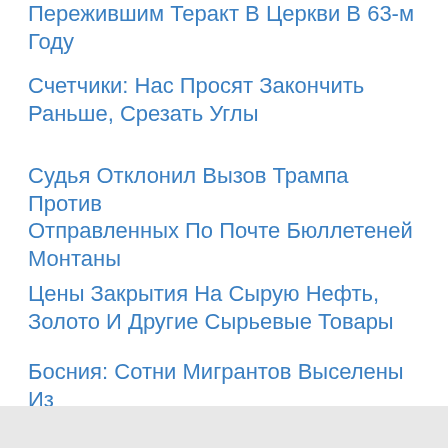Пережившим Теракт В Церкви В 63-м Году
Счетчики: Нас Просят Закончить Раньше, Срезать Углы
Судья Отклонил Вызов Трампа Против Отправленных По Почте Бюллетеней Монтаны
Цены Закрытия На Сырую Нефть, Золото И Другие Сырьевые Товары
Босния: Сотни Мигрантов Выселены Из Лагерей ООН